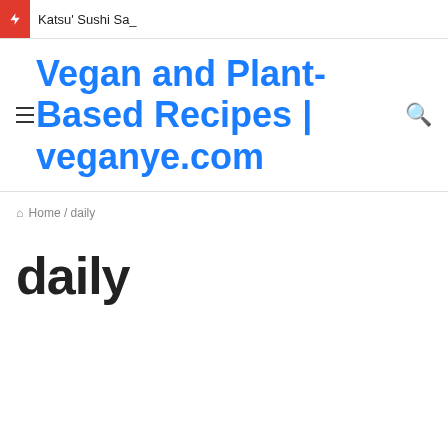Katsu' Sushi Sa_
Vegan and Plant-Based Recipes | veganye.com
Home / daily
daily